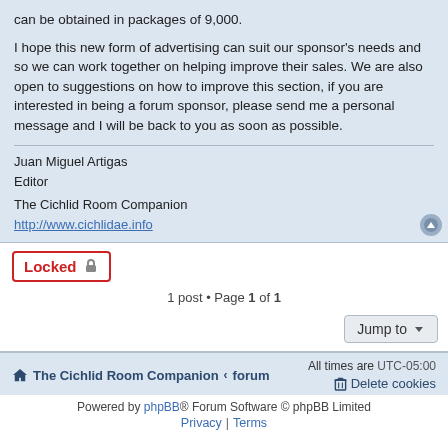can be obtained in packages of 9,000.
I hope this new form of advertising can suit our sponsor's needs and so we can work together on helping improve their sales. We are also open to suggestions on how to improve this section, if you are interested in being a forum sponsor, please send me a personal message and I will be back to you as soon as possible.
Juan Miguel Artigas
Editor

The Cichlid Room Companion
http://www.cichlidae.info
Locked
1 post • Page 1 of 1
Jump to
The Cichlid Room Companion « forum    All times are UTC-05:00    Delete cookies
Powered by phpBB® Forum Software © phpBB Limited
Privacy | Terms